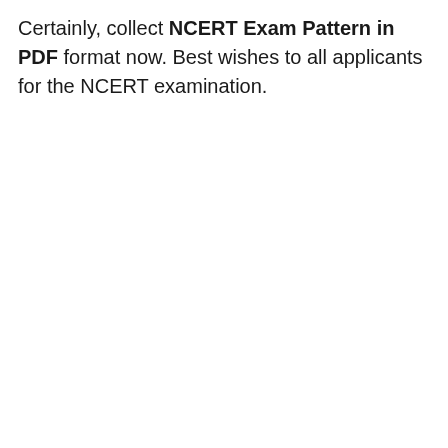Certainly, collect NCERT Exam Pattern in PDF format now. Best wishes to all applicants for the NCERT examination.